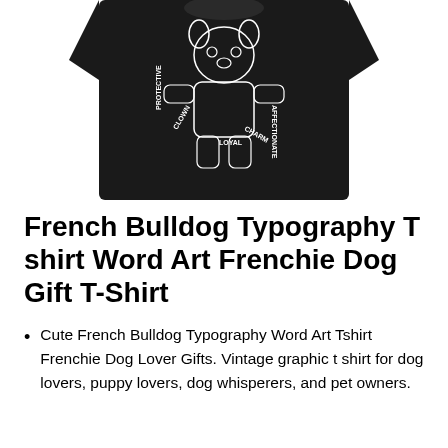[Figure (photo): A black t-shirt with a white French Bulldog typography word art design. The dog illustration is formed from words like PROTECTIVE, CLOWN, LOYAL, CHARM, AFFECTIONATE arranged in a decorative graphic style.]
French Bulldog Typography T shirt Word Art Frenchie Dog Gift T-Shirt
Cute French Bulldog Typography Word Art Tshirt Frenchie Dog Lover Gifts. Vintage graphic t shirt for dog lovers, puppy lovers, dog whisperers, and pet owners.